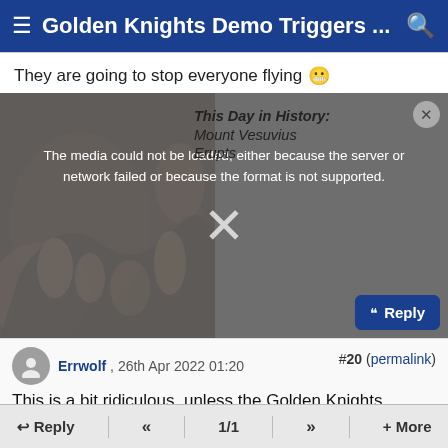Golden Knights Demo Triggers ...
They are going to stop everyone flying 😬
[Figure (screenshot): Media player showing error message: 'The media could not be loaded, either because the server or network failed or because the format is not supported.' overlaid on a classical painting. A 'This Day in History: Mount Vesuvius Erupts' overlay is visible in the upper right, with an X close button.]
This is a bit ridiculous, unless the Golden Knights spontaneously decided to do unannounced parachute operations, took off without a clearance into the DC SFRA
#20 (permalink)
Errwolf , 26th Apr 2022 01:20
Reply  «  1/1  »  + More